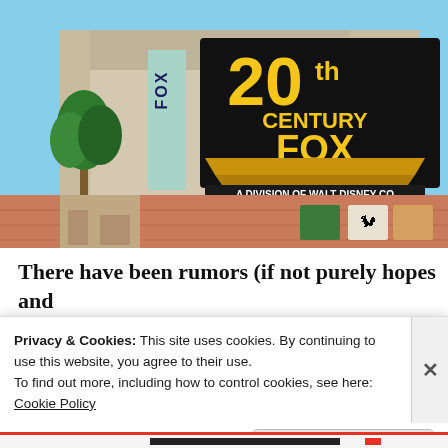[Figure (illustration): Animated screenshot from The Simpsons showing the 20th Century Fox studio entrance with a large sign reading '20th CENTURY FOX — A DIVISION OF WALT DISNEY CO', with palm trees and the FOX vertical sign visible.]
There have been rumors (if not purely hopes and
Privacy & Cookies: This site uses cookies. By continuing to use this website, you agree to their use.
To find out more, including how to control cookies, see here: Cookie Policy
Close and accept